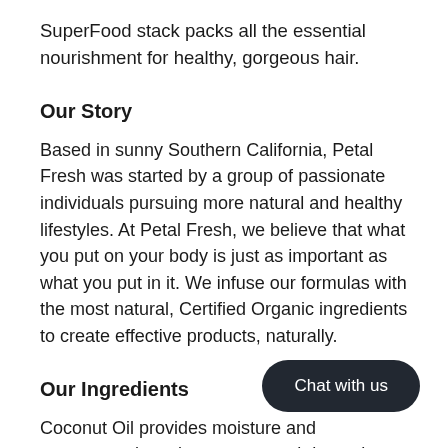SuperFood stack packs all the essential nourishment for healthy, gorgeous hair.
Our Story
Based in sunny Southern California, Petal Fresh was started by a group of passionate individuals pursuing more natural and healthy lifestyles. At Petal Fresh, we believe that what you put on your body is just as important as what you put in it. We infuse our formulas with the most natural, Certified Organic ingredients to create effective products, naturally.
Our Ingredients
Coconut Oil provides moisture and nourishment while acting as a natural detangler and conditioner for softer hair. Vitamin E promotes healthy hair moisture supporting the function of Keratin protein in hair.